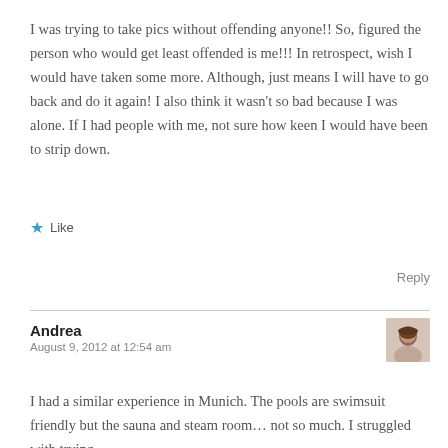I was trying to take pics without offending anyone!! So, figured the person who would get least offended is me!!! In retrospect, wish I would have taken some more. Although, just means I will have to go back and do it again! I also think it wasn't so bad because I was alone. If I had people with me, not sure how keen I would have been to strip down.
★ Like
Reply
Andrea
August 9, 2012 at 12:54 am
[Figure (photo): Small circular avatar photo of a woman with dark hair]
I had a similar experience in Munich. The pools are swimsuit friendly but the sauna and steam room… not so much. I struggled with trying